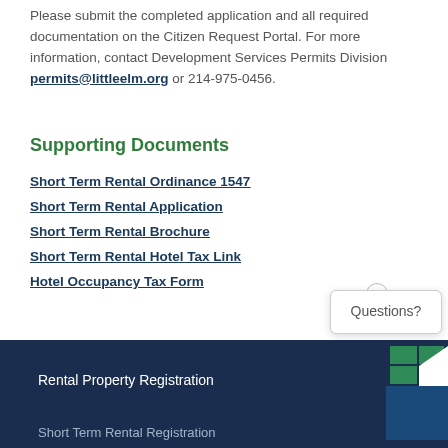Please submit the completed application and all required documentation on the Citizen Request Portal. For more information, contact Development Services Permits Division permits@littleelm.org or 214-975-0456.
Supporting Documents
Short Term Rental Ordinance 1547
Short Term Rental Application
Short Term Rental Brochure
Short Term Rental Hotel Tax Link
Hotel Occupancy Tax Form
Questions?
Rental Property Registration | Short Term Rental Registration